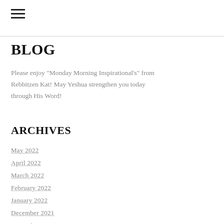≡
BLOG
Please enjoy "Monday Morning Inspirational's" from Rebbitzen Kat! May Yeshua strengthen you today through His Word!
ARCHIVES
May 2022
April 2022
March 2022
February 2022
January 2022
December 2021
November 2021
October 2021
September 2021